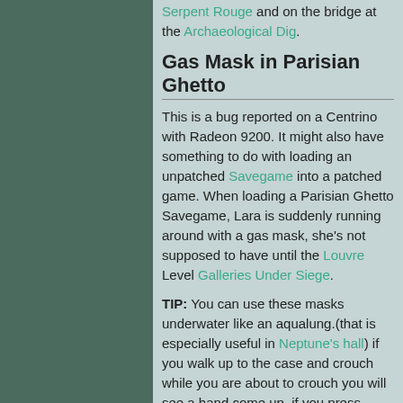Serpent Rouge and on the bridge at the Archaeological Dig.
Gas Mask in Parisian Ghetto
This is a bug reported on a Centrino with Radeon 9200. It might also have something to do with loading an unpatched Savegame into a patched game. When loading a Parisian Ghetto Savegame, Lara is suddenly running around with a gas mask, she's not supposed to have until the Louvre Level Galleries Under Siege.
TIP: You can use these masks underwater like an aqualung.(that is especially useful in Neptune's hall) if you walk up to the case and crouch while you are about to crouch you will see a hand come up. if you press